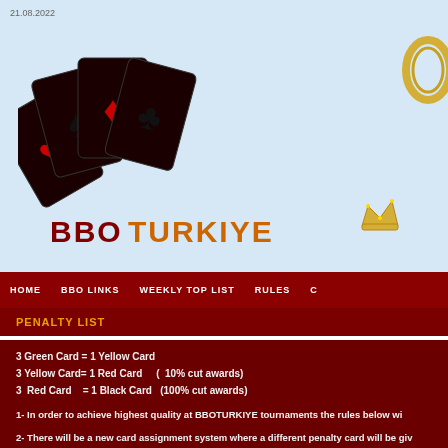21.08.2022
[Figure (illustration): Fan of four dark playing cards showing heart, spade, diamond, and club suits]
[Figure (illustration): Gold ring partially visible at top right]
BBOTURKIYE with crown icon
[Figure (illustration): Gold crown icon]
HOME   BBO LINKS   WEEKLY TOP LIST   RULES
PENALTY LIST
3 Green Card = 1 Yellow Card
3 Yellow Card= 1 Red Card    (  10% cut awards)
3  Red Card    = 1 Black Card   (100% cut awards)
1- In order to achieve highest quality at BBOTURKIYE tournaments the rules below wi
2- There will be a new card assignment system where a different penalty card will be giv